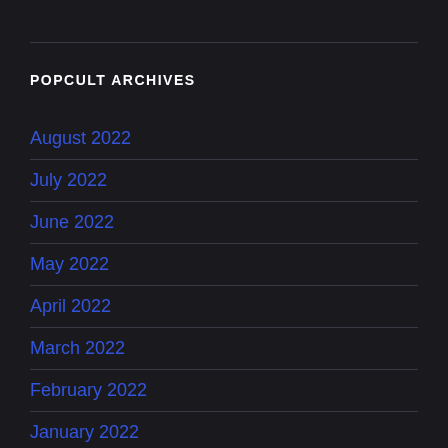POPCULT ARCHIVES
August 2022
July 2022
June 2022
May 2022
April 2022
March 2022
February 2022
January 2022